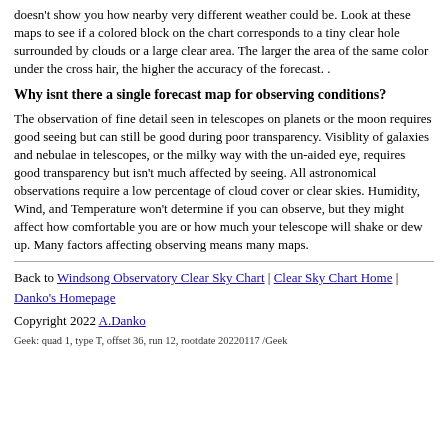doesn't show you how nearby very different weather could be. Look at these maps to see if a colored block on the chart corresponds to a tiny clear hole surrounded by clouds or a large clear area. The larger the area of the same color under the cross hair, the higher the accuracy of the forecast. .
Why isnt there a single forecast map for observing conditions?
The observation of fine detail seen in telescopes on planets or the moon requires good seeing but can still be good during poor transparency. Visiblity of galaxies and nebulae in telescopes, or the milky way with the un-aided eye, requires good transparency but isn't much affected by seeing. All astronomical observations require a low percentage of cloud cover or clear skies. Humidity, Wind, and Temperature won't determine if you can observe, but they might affect how comfortable you are or how much your telescope will shake or dew up. Many factors affecting observing means many maps.
Back to Windsong Observatory Clear Sky Chart | Clear Sky Chart Home | Danko's Homepage
Copyright 2022 A.Danko
Geek: quad 1, type T, offset 36, run 12, rootdate 20220117 /Geek